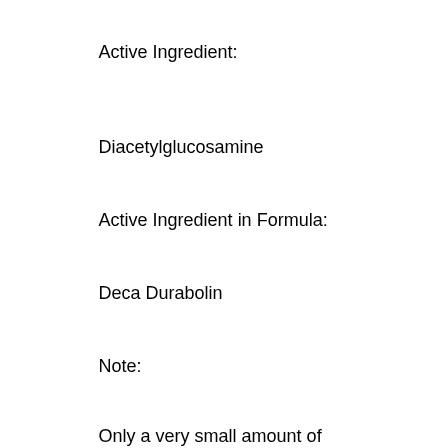Active Ingredient:
Diacetylglucosamine
Active Ingredient in Formula:
Deca Durabolin
Note:
Only a very small amount of deca Durabolin has been patented to the FDA, bulksupplements dim.
Injection Site Effects Due to Use of Deca Durabolin:
No studies have been done on the drug's ability to harm the heart and arteries, and the risk of side effects has not been examined and can not be fully confirmed.